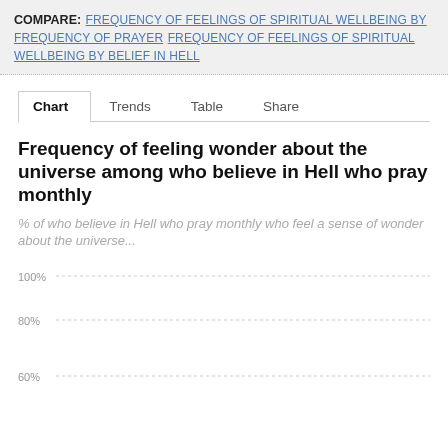COMPARE: FREQUENCY OF FEELINGS OF SPIRITUAL WELLBEING BY FREQUENCY OF PRAYER  FREQUENCY OF FEELINGS OF SPIRITUAL WELLBEING BY BELIEF IN HELL
Chart  Trends  Table  Share
Frequency of feeling wonder about the universe among who believe in Hell who pray monthly
% of who believe in Hell who pray monthly who feel a sense of wonder about the universe...
[Figure (continuous-plot): Partial line chart with y-axis gridlines showing 100%, 80%, and 60% — chart data area cut off at bottom of page]